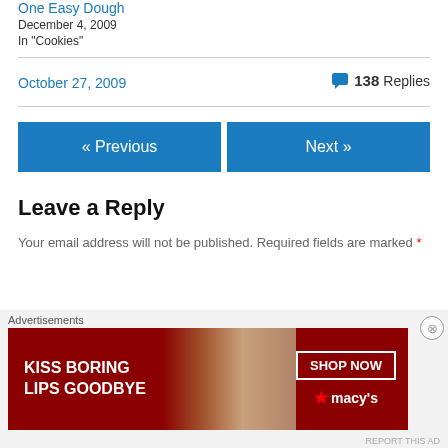One Easy Dough
December 4, 2009
In "Cookies"
October 27, 2009  💬 138 Replies
« Previous
Next »
Leave a Reply
Your email address will not be published. Required fields are marked *
[Figure (other): Macy's advertisement banner: KISS BORING LIPS GOODBYE with SHOP NOW button and Macy's logo]